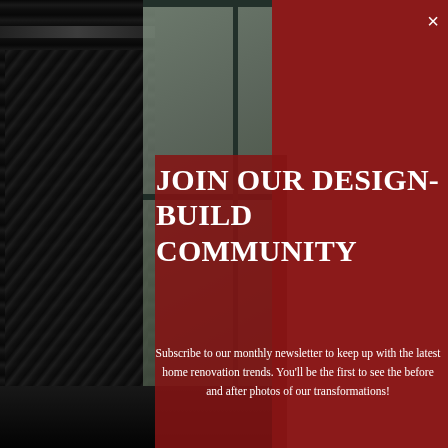[Figure (photo): Grayscale interior photo showing dark curtains on the left and a window with bare tree branches visible through frosted glass panes]
JOIN OUR DESIGN-BUILD COMMUNITY
Subscribe to our monthly newsletter to keep up with the latest home renovation trends. You'll be the first to see the before and after photos of our transformations!
Name
Email
Subscribe Now!